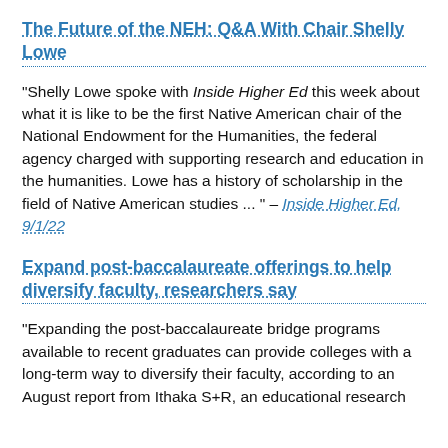The Future of the NEH: Q&A With Chair Shelly Lowe
"Shelly Lowe spoke with Inside Higher Ed this week about what it is like to be the first Native American chair of the National Endowment for the Humanities, the federal agency charged with supporting research and education in the humanities. Lowe has a history of scholarship in the field of Native American studies ... " – Inside Higher Ed, 9/1/22
Expand post-baccalaureate offerings to help diversify faculty, researchers say
"Expanding the post-baccalaureate bridge programs available to recent graduates can provide colleges with a long-term way to diversify their faculty, according to an August report from Ithaka S+R, an educational research